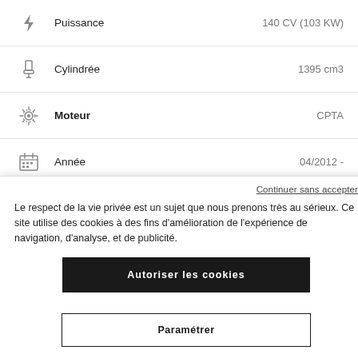Puissance — 140 CV (103 KW)
Cylindrée — 1395 cm3
Moteur — CPTA
Année — 04/2012 -
Continuer sans accepter
Le respect de la vie privée est un sujet que nous prenons très au sérieux. Ce site utilise des cookies à des fins d'amélioration de l'expérience de navigation, d'analyse, et de publicité.
Autoriser les cookies
Paramétrer